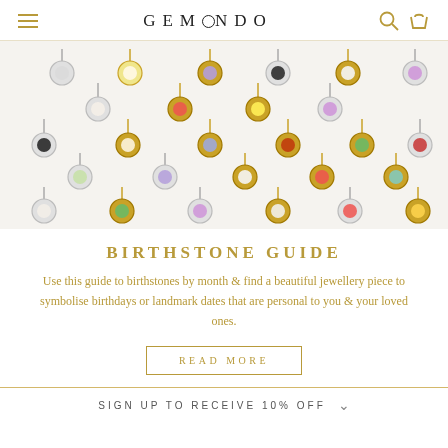GEMONDO
[Figure (photo): Collection of colorful gemstone charm pendants in silver and gold settings arranged in a staggered pattern on white background]
BIRTHSTONE GUIDE
Use this guide to birthstones by month & find a beautiful jewellery piece to symbolise birthdays or landmark dates that are personal to you & your loved ones.
READ MORE
SIGN UP TO RECEIVE 10% OFF